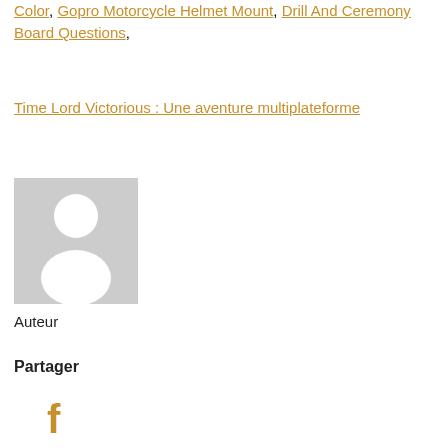Color, Gopro Motorcycle Helmet Mount, Drill And Ceremony Board Questions,
Time Lord Victorious : Une aventure multiplateforme
[Figure (photo): Generic user avatar placeholder image: light gray background with white silhouette of a person]
Auteur
Partager
Facebook icon (f)
Twitter icon (bird)
LinkedIn icon (in)
Google+ icon (G+)
Pinterest icon (p)